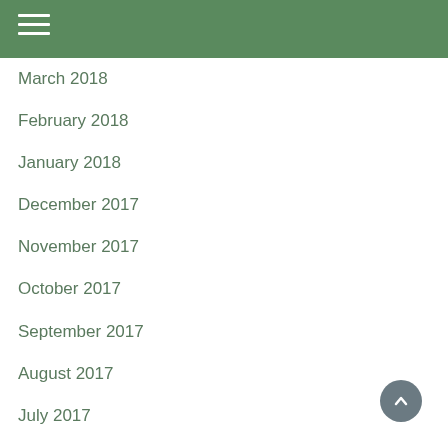March 2018
February 2018
January 2018
December 2017
November 2017
October 2017
September 2017
August 2017
July 2017
June 2017
May 2017